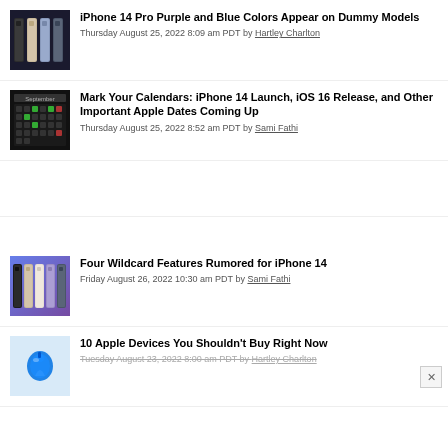[Figure (photo): iPhone 14 Pro models in purple, gold, silver, and dark colors lined up]
iPhone 14 Pro Purple and Blue Colors Appear on Dummy Models
Thursday August 25, 2022 8:09 am PDT by Hartley Charlton
[Figure (photo): September calendar with dates highlighted]
Mark Your Calendars: iPhone 14 Launch, iOS 16 Release, and Other Important Apple Dates Coming Up
Thursday August 25, 2022 8:52 am PDT by Sami Fathi
[Figure (photo): iPhone 14 Pro models in various colors lined up on gradient background]
Four Wildcard Features Rumored for iPhone 14
Friday August 26, 2022 10:30 am PDT by Sami Fathi
[Figure (logo): Apple logo with iOS style icon]
10 Apple Devices You Shouldn't Buy Right Now
Tuesday August 23, 2022 8:00 am PDT by Hartley Charlton